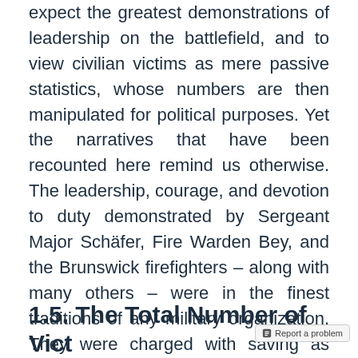expect the greatest demonstrations of leadership on the battlefield, and to view civilian victims as mere passive statistics, whose numbers are then manipulated for political purposes. Yet the narratives that have been recounted here remind us otherwise. The leadership, courage, and devotion to duty demonstrated by Sergeant Major Schäfer, Fire Warden Bey, and the Brunswick firefighters – along with many others – were in the finest traditions of any military organization. They were charged with saving as many lives as possible. At great personal risk, they accomplished that mission.
1.5. The Total Number of Victims